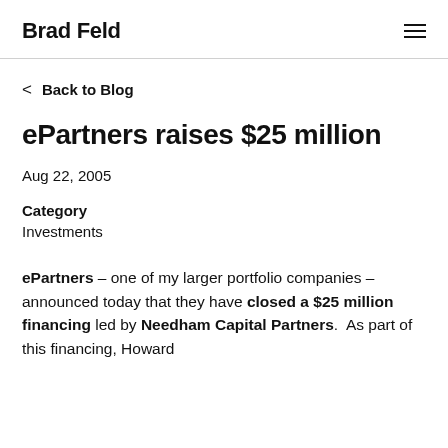Brad Feld
< Back to Blog
ePartners raises $25 million
Aug 22, 2005
Category
Investments
ePartners – one of my larger portfolio companies – announced today that they have closed a $25 million financing led by Needham Capital Partners. As part of this financing, Howard